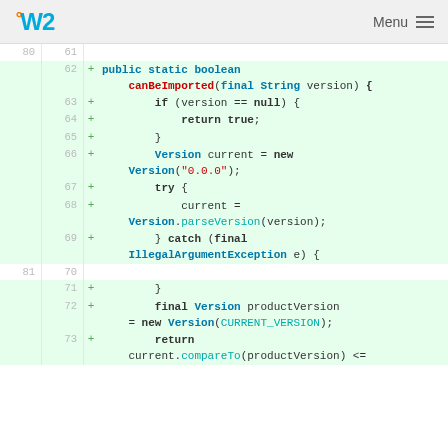OW2  Menu
[Figure (screenshot): Git diff view of Java code showing added lines 62-73 implementing canBeImported method with version parsing logic]
80  61
62 + public static boolean canBeImported(final String version) {
63 +     if (version == null) {
64 +         return true;
65 +     }
66 +     Version current = new Version("0.0.0");
67 +     try {
68 +         current = Version.parseVersion(version);
69 +     } catch (final IllegalArgumentException e) {
81  70
71 +     }
72 +     final Version productVersion = new Version(CURRENT_VERSION);
73 +     return
       current.compareTo(productVersion) <=